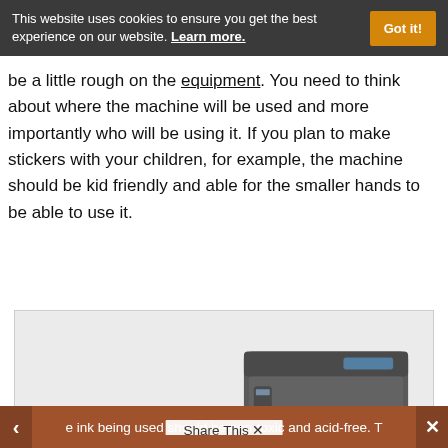This website uses cookies to ensure you get the best experience on our website. Learn more. [Got it!]
be a little rough on the equipment. You need to think about where the machine will be used and more importantly who will be using it. If you plan to make stickers with your children, for example, the machine should be kid friendly and able for the smaller hands to be able to use it.
[Figure (photo): Two label printers (LX1000 and larger model) printing colorful labels — one with a floral design and one with almond product labels — on a light gray background.]
e ink being used should be non-toxic and acid-free. T   Share This ×